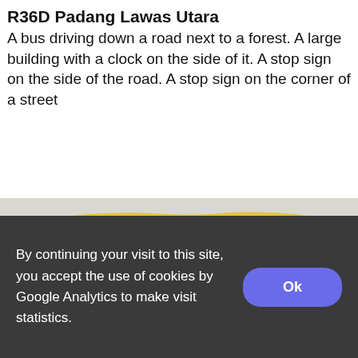R36D Padang Lawas Utara
A bus driving down a road next to a forest. A large building with a clock on the side of it. A stop sign on the side of the road. A stop sign on the corner of a street
[Figure (photo): 360-degree interior panoramic view of a bus showing blue patterned seats on both sides, windows, doors, and a wide-angle ceiling view with yellow trim along the top.]
By continuing your visit to this site, you accept the use of cookies by Google Analytics to make visit statistics.